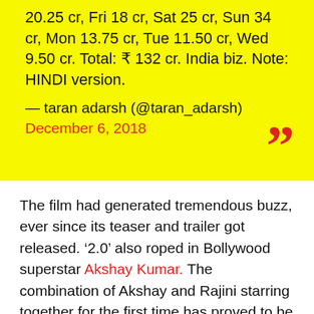20.25 cr, Fri 18 cr, Sat 25 cr, Sun 34 cr, Mon 13.75 cr, Tue 11.50 cr, Wed 9.50 cr. Total: ₹ 132 cr. India biz. Note: HINDI version.
— taran adarsh (@taran_adarsh) December 6, 2018
The film had generated tremendous buzz, ever since its teaser and trailer got released. '2.0' also roped in Bollywood superstar Akshay Kumar. The combination of Akshay and Rajini starring together for the first time has proved to be highly successful.